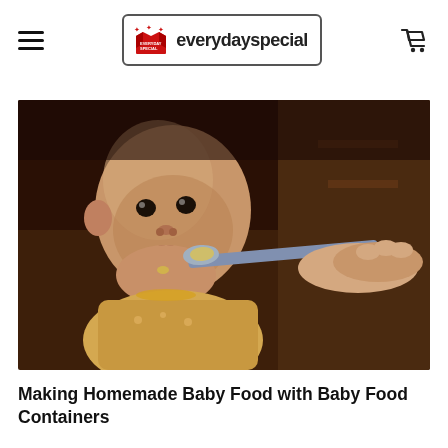everydayspecial — navigation header with hamburger menu, logo, and cart icon
[Figure (photo): A baby being fed with a spoon by an adult hand. Close-up photo of a young Asian baby with food on lips, holding/accepting a spoon being offered from the right side. Dark blurred background with wooden furniture.]
Making Homemade Baby Food with Baby Food Containers